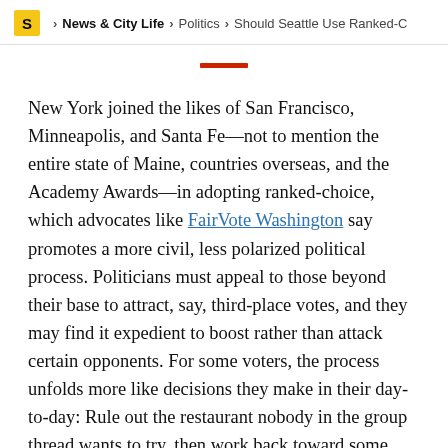S > News & City Life > Politics > Should Seattle Use Ranked-C
New York joined the likes of San Francisco, Minneapolis, and Santa Fe—not to mention the entire state of Maine, countries overseas, and the Academy Awards—in adopting ranked-choice, which advocates like FairVote Washington say promotes a more civil, less polarized political process. Politicians must appeal to those beyond their base to attract, say, third-place votes, and they may find it expedient to boost rather than attack certain opponents. For some voters, the process unfolds more like decisions they make in their day-to-day: Rule out the restaurant nobody in the group thread wants to try, then work back toward some kind of consensus favorite. Maybe not everyone's thrilled, but hopefully nobody's all passive aggressive about it, either.